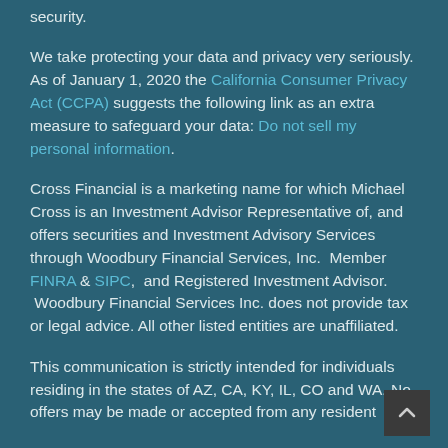security.
We take protecting your data and privacy very seriously. As of January 1, 2020 the California Consumer Privacy Act (CCPA) suggests the following link as an extra measure to safeguard your data: Do not sell my personal information.
Cross Financial is a marketing name for which Michael Cross is an Investment Advisor Representative of, and offers securities and Investment Advisory Services through Woodbury Financial Services, Inc.  Member FINRA & SIPC,  and Registered Investment Advisor.  Woodbury Financial Services Inc. does not provide tax or legal advice. All other listed entities are unaffiliated.
This communication is strictly intended for individuals residing in the states of AZ, CA, KY, IL, CO and WA. No offers may be made or accepted from any resident